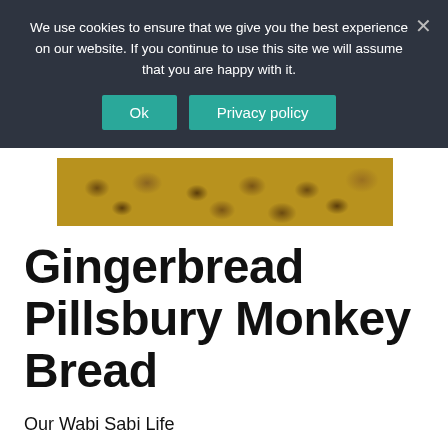We use cookies to ensure that we give you the best experience on our website. If you continue to use this site we will assume that you are happy with it.
Ok  Privacy policy
[Figure (photo): Close-up photo of gingerbread monkey bread, showing golden-brown pieces of bread covered in gingerbread spice coating]
Gingerbread Pillsbury Monkey Bread
Our Wabi Sabi Life
If you love Gingerbread, you are going to love this Gingerbread Pillsbury Monkey Bread Recipe. Just